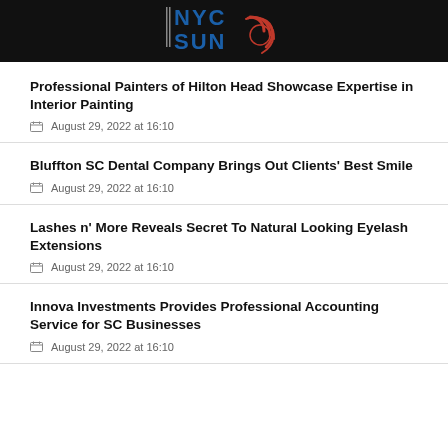[Figure (logo): NYC Sun logo with blue NYC text, red circular design, and black background]
Professional Painters of Hilton Head Showcase Expertise in Interior Painting
August 29, 2022 at 16:10
Bluffton SC Dental Company Brings Out Clients’ Best Smile
August 29, 2022 at 16:10
Lashes n’ More Reveals Secret To Natural Looking Eyelash Extensions
August 29, 2022 at 16:10
Innova Investments Provides Professional Accounting Service for SC Businesses
August 29, 2022 at 16:10